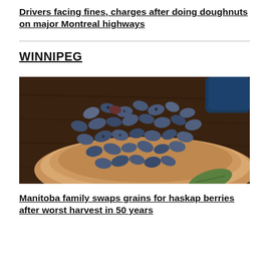Drivers facing fines, charges after doing doughnuts on major Montreal highways
WINNIPEG
[Figure (photo): A wooden bowl filled with dark blue haskap berries on a wooden surface, with a green leaf and a dark blue container in the background.]
Manitoba family swaps grains for haskap berries after worst harvest in 50 years